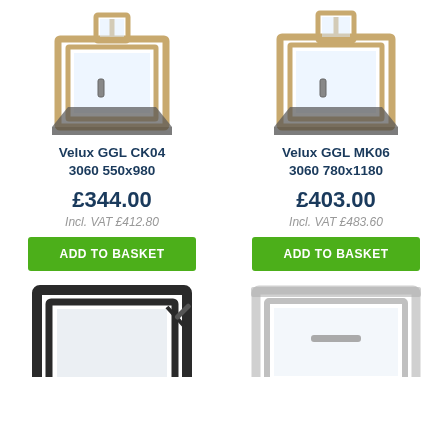[Figure (illustration): Velux GGL CK04 roof window illustration, wooden frame, open position]
Velux GGL CK04
3060 550x980
£344.00
Incl. VAT £412.80
ADD TO BASKET
[Figure (illustration): Velux GGL MK06 roof window illustration, wooden frame, open position]
Velux GGL MK06
3060 780x1180
£403.00
Incl. VAT £483.60
ADD TO BASKET
[Figure (illustration): Dark/black framed roof window partially visible at bottom]
[Figure (illustration): White/light framed roof window partially visible at bottom]